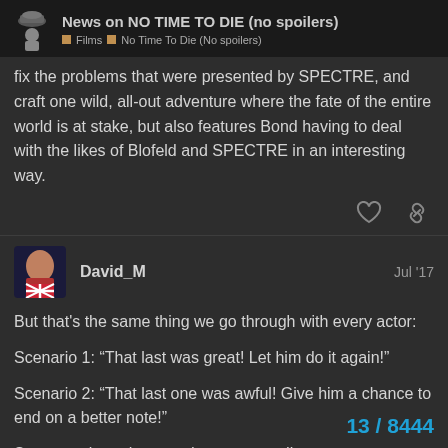News on NO TIME TO DIE (no spoilers) | Films > No Time To Die (No spoilers)
fix the problems that were presented by SPECTRE, and craft one wild, all-out adventure where the fate of the entire world is at stake, but also features Bond having to deal with the likes of Blofeld and SPECTRE in an interesting way.
David_M  Jul '17
But that's the same thing we go through with every actor:
Scenario 1: “That last was great! Let him do it again!”
Scenario 2: “That last one was awful! Give him a chance to end on a better note!”
Sooner or later they need to go, regardless
The only thing unique about Spectre is tha
13 / 8444